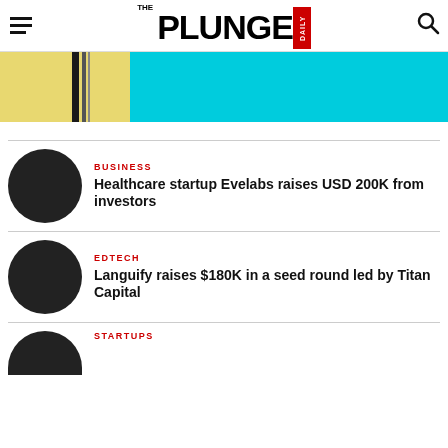THE PLUNGE DAILY
[Figure (photo): Partial banner image with yellow/black diagonal section on left and solid cyan/turquoise section on right]
BUSINESS
Healthcare startup Evelabs raises USD 200K from investors
EDTECH
Languify raises $180K in a seed round led by Titan Capital
STARTUPS